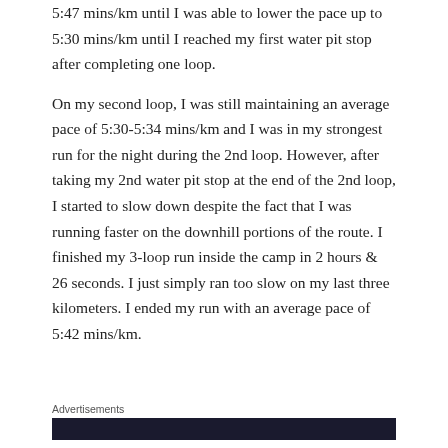5:47 mins/km until I was able to lower the pace up to 5:30 mins/km until I reached my first water pit stop after completing one loop.
On my second loop, I was still maintaining an average pace of 5:30-5:34 mins/km and I was in my strongest run for the night during the 2nd loop. However, after taking my 2nd water pit stop at the end of the 2nd loop, I started to slow down despite the fact that I was running faster on the downhill portions of the route. I finished my 3-loop run inside the camp in 2 hours & 26 seconds. I just simply ran too slow on my last three kilometers. I ended my run with an average pace of 5:42 mins/km.
Advertisements